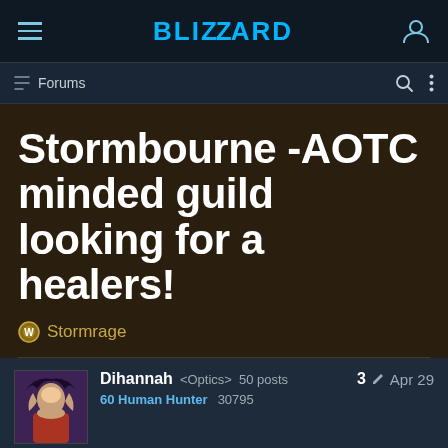Blizzard Forums
Forums
Stormbourne -AOTC minded guild looking for a healers!
Stormrage
Dihannah <Optics> 50 posts  60 Human Hunter  30795  3  Apr 29
[Guild: Stormbourne] is a semi-chill PvE oriented guild that is looking for like-minded players who